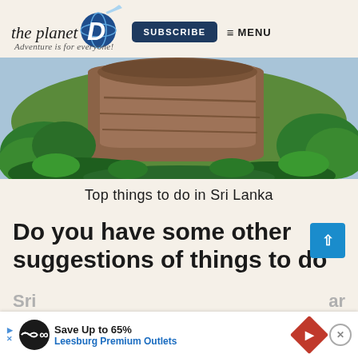the planet D — Adventure is for everyone! | SUBSCRIBE | MENU
[Figure (photo): Sigiriya rock fortress rising above lush green jungle trees against a blue sky, Sri Lanka]
Top things to do in Sri Lanka
Do you have some other suggestions of things to do
Sri ... ar